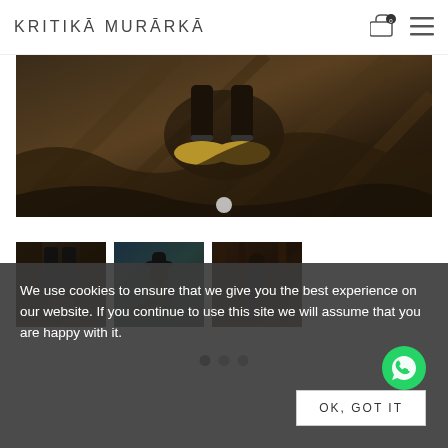KRITIKA MURARKA
[Figure (photo): Close-up of a person's feet wearing black stockings and gold metallic flat shoes, standing on dark draped fabric with twigs]
[Figure (photo): Fashion photo: person in black outfit, hands clasped, standing against dark curtain background]
[Figure (photo): Fashion photo: person in dark jacket crouching/sitting against dark teal background]
[Figure (photo): Fashion photo: person in black crop top and skirt standing against dark wood/curtain background]
We use cookies to ensure that we give you the best experience on our website. If you continue to use this site we will assume that you are happy with it.
OK, GOT IT